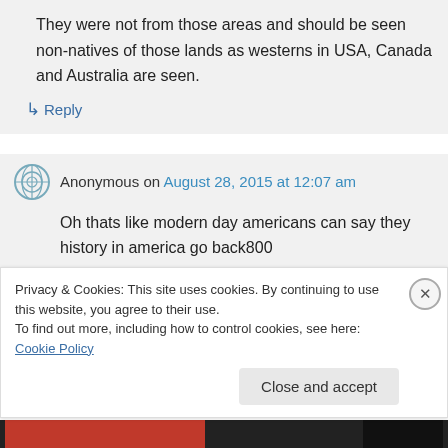They were not from those areas and should be seen non-natives of those lands as westerns in USA, Canada and Australia are seen.
↳ Reply
Anonymous on August 28, 2015 at 12:07 am
Oh thats like modern day americans can say they history in america go back800
Privacy & Cookies: This site uses cookies. By continuing to use this website, you agree to their use.
To find out more, including how to control cookies, see here: Cookie Policy
Close and accept